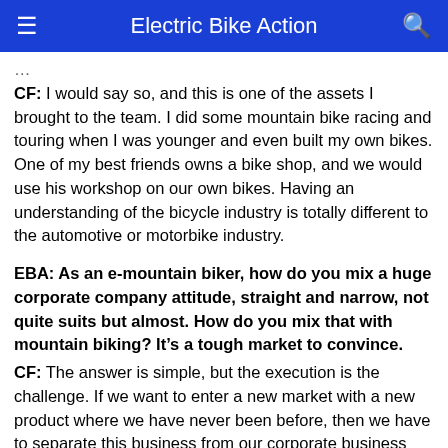Electric Bike Action
CF: I would say so, and this is one of the assets I brought to the team. I did some mountain bike racing and touring when I was younger and even built my own bikes. One of my best friends owns a bike shop, and we would use his workshop on our own bikes. Having an understanding of the bicycle industry is totally different to the automotive or motorbike industry.
EBA: As an e-mountain biker, how do you mix a huge corporate company attitude, straight and narrow, not quite suits but almost. How do you mix that with mountain biking? It's a tough market to convince.
CF: The answer is simple, but the execution is the challenge. If we want to enter a new market with a new product where we have never been before, then we have to separate this business from our corporate business and create a startup. You try to build something like a typical garage company.
EBA: Is that possible?
CF: Yes, of course, the initial team was two engineers, and they